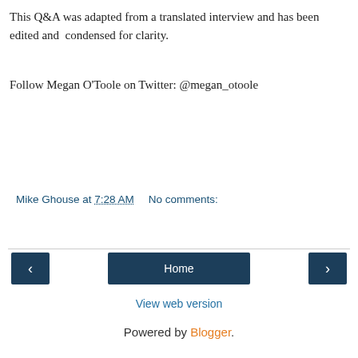This Q&A was adapted from a translated interview and has been edited and  condensed for clarity.
Follow Megan O'Toole on Twitter: @megan_otoole
Mike Ghouse at 7:28 AM   No comments:
Share
‹
Home
›
View web version
Powered by Blogger.